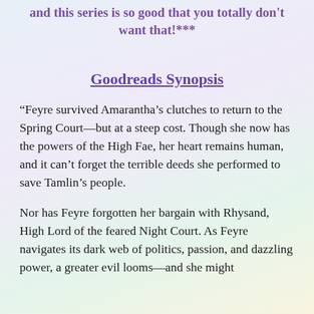and this series is so good that you totally don't want that!***
Goodreads Synopsis
“Feyre survived Amarantha’s clutches to return to the Spring Court—but at a steep cost. Though she now has the powers of the High Fae, her heart remains human, and it can’t forget the terrible deeds she performed to save Tamlin’s people.
Nor has Feyre forgotten her bargain with Rhysand, High Lord of the feared Night Court. As Feyre navigates its dark web of politics, passion, and dazzling power, a greater evil looms—and she might be the one to do it…